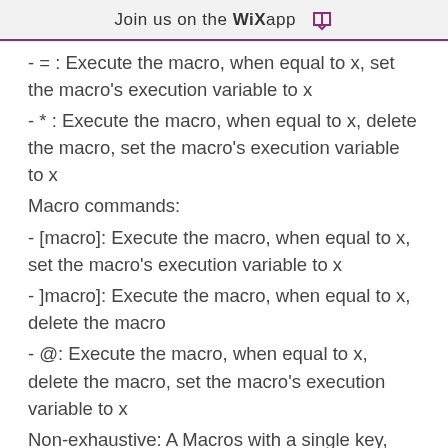Join us on the WiX app
- = : Execute the macro, when equal to x, set the macro's execution variable to x
- * : Execute the macro, when equal to x, delete the macro, set the macro's execution variable to x
Macro commands:
- [macro]: Execute the macro, when equal to x, set the macro's execution variable to x
- ]macro]: Execute the macro, when equal to x, delete the macro
- @: Execute the macro, when equal to x, delete the macro, set the macro's execution variable to x
Non-exhaustive: A Macros with a single key, can execute a command